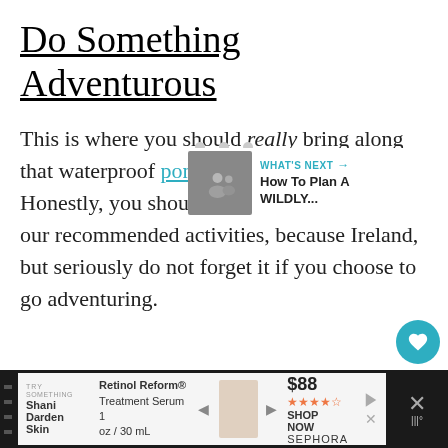Do Something Adventurous
This is where you should really bring along that waterproof poncho we mentioned earlier. Honestly, you should bring it along for any of our recommended activities, because Ireland, but seriously do not forget it if you choose to go adventuring.
[Figure (infographic): Pagination dots (3 circles) and a What's Next bar with thumbnail and text 'How To Plan A WILDLY...']
[Figure (screenshot): Ad banner at bottom: Try Something / Shani Darden Skin — Retinol Reform Treatment Serum 1 oz / 30 mL — $88 SHOP NOW SEPHORA]